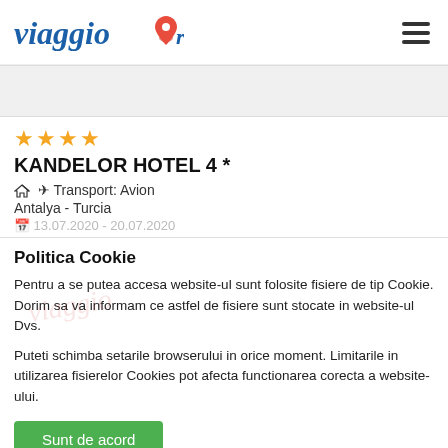viaggio.ro
[Figure (other): Gray banner/image placeholder strip]
★★★★
KANDELOR HOTEL 4 *
✈ Transport: Avion
Antalya - Turcia
13.07.2020 - 20.07.2020
Politica Cookie
Pentru a se putea accesa website-ul sunt folosite fisiere de tip Cookie. Dorim sa va informam ce astfel de fisiere sunt stocate in website-ul Dvs.
Puteti schimba setarile browserului in orice moment. Limitarile in utilizarea fisierelor Cookies pot afecta functionarea corecta a website-ului.
Sunt de acord